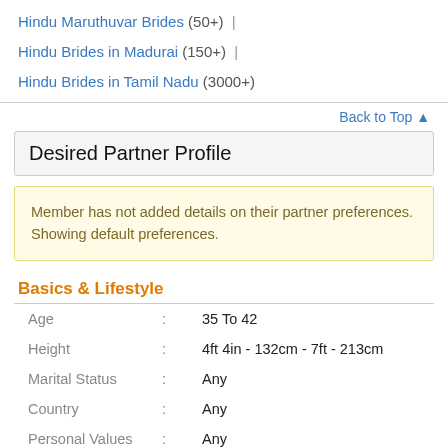Hindu Maruthuvar Brides (50+) |
Hindu Brides in Madurai (150+) |
Hindu Brides in Tamil Nadu (3000+)
Back to Top ↑
Desired Partner Profile
Member has not added details on their partner preferences. Showing default preferences.
Basics & Lifestyle
| Field | : | Value |
| --- | --- | --- |
| Age | : | 35 To 42 |
| Height | : | 4ft 4in - 132cm - 7ft - 213cm |
| Marital Status | : | Any |
| Country | : | Any |
| Personal Values | : | Any |